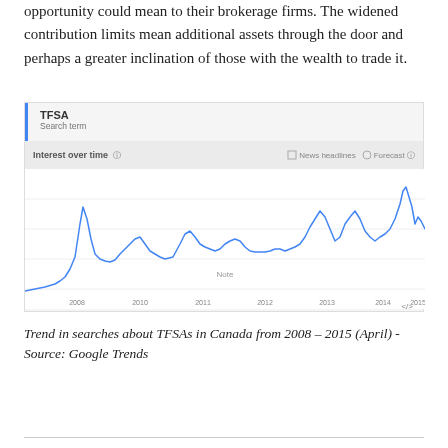opportunity could mean to their brokerage firms. The widened contribution limits mean additional assets through the door and perhaps a greater inclination of those with the wealth to trade it.
[Figure (continuous-plot): Google Trends line chart showing interest over time for search term 'TFSA' in Canada from 2008 to 2015. The chart shows multiple peaks, with the largest peak occurring around 2015, and notable peaks around 2009, 2011, 2012, 2013, and 2014.]
Trend in searches about TFSAs in Canada from 2008 – 2015 (April) -Source: Google Trends